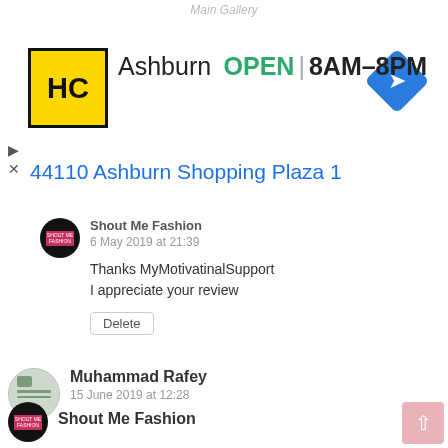[Figure (screenshot): Advertisement banner for HC (Hair Cuttery?) Ashburn location showing logo, OPEN 8AM-8PM, and address 44110 Ashburn Shopping Plaza 1]
Shout Me Fashion
6 May 2019 at 21:39
Thanks MyMotivatinalSupport
I appreciate your review
Delete
Muhammad Rafey
15 June 2019 at 12:28
Very informative post! There is a lot of information here that can help any business get started with a successful social networking campaign. buy instagram followers
Reply   Delete
Shout Me Fashion